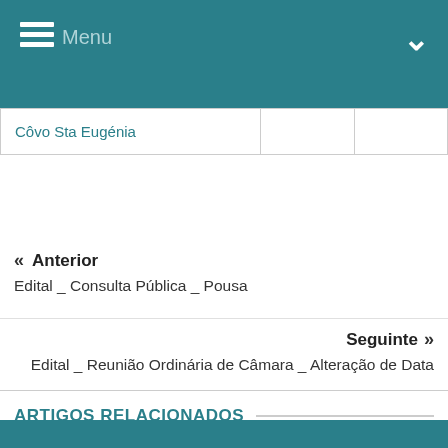Menu
| Côvo Sta Eugénia |  |  |
« Anterior
Edital _ Consulta Pública _ Pousa
Seguinte »
Edital _ Reunião Ordinária de Câmara _ Alteração de Data
ARTIGOS RELACIONADOS